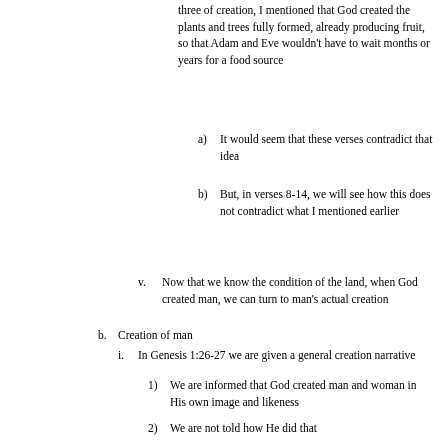three of creation, I mentioned that God created the plants and trees fully formed, already producing fruit, so that Adam and Eve wouldn't have to wait months or years for a food source
a) It would seem that these verses contradict that idea
b) But, in verses 8-14, we will see how this does not contradict what I mentioned earlier
v. Now that we know the condition of the land, when God created man, we can turn to man's actual creation
b. Creation of man
i. In Genesis 1:26-27 we are given a general creation narrative
1) We are informed that God created man and woman in His own image and likeness
2) We are not told how He did that
3) As inquisitive human beings we want to know how He did it